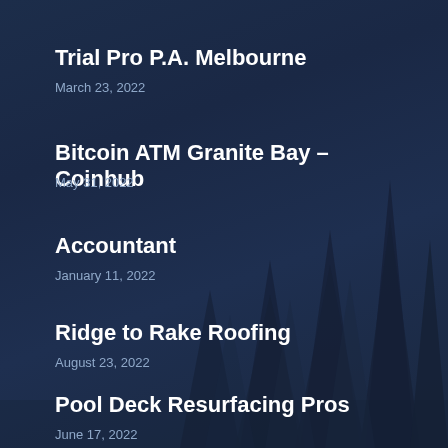Trial Pro P.A. Melbourne
March 23, 2022
Bitcoin ATM Granite Bay – Coinhub
May 31, 2022
Accountant
January 11, 2022
Ridge to Rake Roofing
August 23, 2022
Pool Deck Resurfacing Pros
June 17, 2022